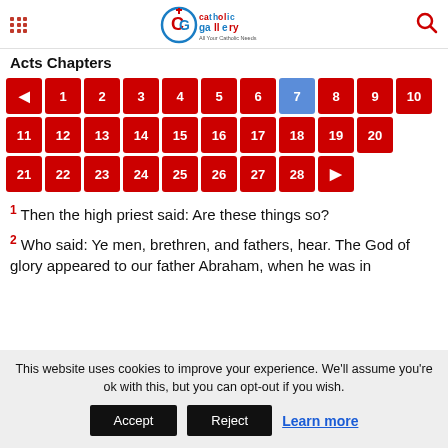Catholic Gallery — All Your Catholic Needs
Acts Chapters
[Figure (other): Chapter navigation grid with numbered buttons 1-28 plus prev/next arrows. Button 7 is highlighted in blue, others in red.]
1 Then the high priest said: Are these things so?
2 Who said: Ye men, brethren, and fathers, hear. The God of glory appeared to our father Abraham, when he was in
This website uses cookies to improve your experience. We'll assume you're ok with this, but you can opt-out if you wish.